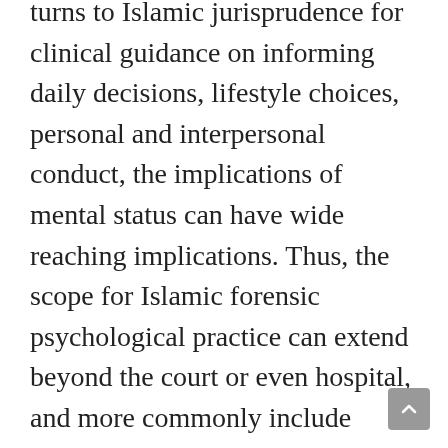turns to Islamic jurisprudence for clinical guidance on informing daily decisions, lifestyle choices, personal and interpersonal conduct, the implications of mental status can have wide reaching implications. Thus, the scope for Islamic forensic psychological practice can extend beyond the court or even hospital, and more commonly include issues regarding personal religious duties brought to community clergy or unofficial legal authorities (muftīs). Such enquiries commonly include questions about ritual purification and bathing, disability